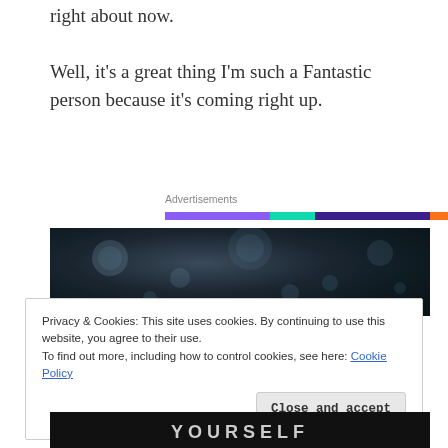right about now.
Well, it’s a great thing I’m such a Fantastic person because it’s coming right up.
Advertisements
[Figure (other): Advertisements progress/loading bar with purple, teal, dark blue, and orange segments]
[Figure (photo): Dark underwater or abstract photo with bubbles and light reflections]
Privacy & Cookies: This site uses cookies. By continuing to use this website, you agree to their use.
To find out more, including how to control cookies, see here: Cookie Policy
Close and accept
[Figure (photo): Bottom portion of image showing text partially visible: YOURSELF or similar]